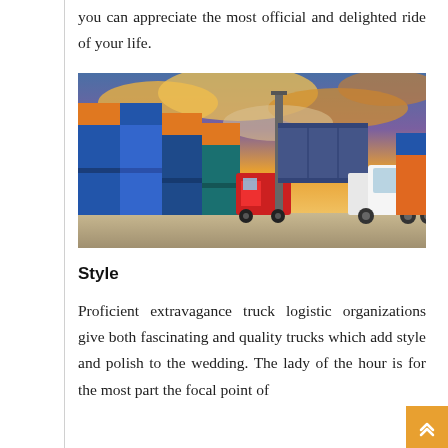you can appreciate the most official and delighted ride of your life.
[Figure (photo): A red forklift lifting a shipping container at a logistics yard stacked with colorful blue and orange containers, with a white truck and dramatic orange-yellow cloudy sky in the background.]
Style
Proficient extravagance truck logistic organizations give both fascinating and quality trucks which add style and polish to the wedding. The lady of the hour is for the most part the focal point of